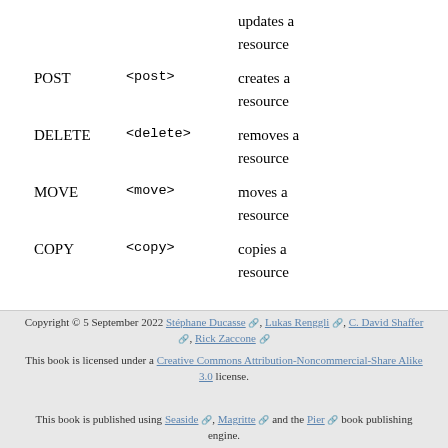| Method | Tag | Description |
| --- | --- | --- |
|  |  | updates a resource |
| POST | <post> | creates a resource |
| DELETE | <delete> | removes a resource |
| MOVE | <move> | moves a resource |
| COPY | <copy> | copies a resource |
Copyright © 5 September 2022 Stéphane Ducasse, Lukas Renggli, C. David Shaffer, Rick Zaccone
This book is licensed under a Creative Commons Attribution-Noncommercial-Share Alike 3.0 license.
This book is published using Seaside, Magritte and the Pier book publishing engine.